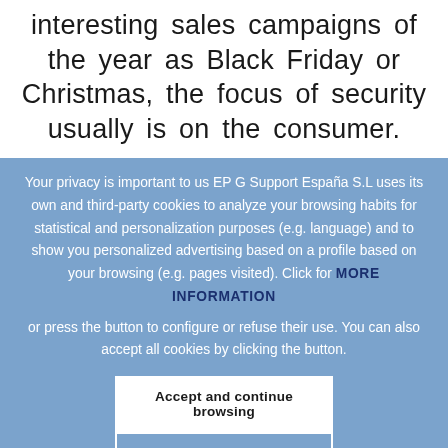interesting sales campaigns of the year as Black Friday or Christmas, the focus of security usually is on the consumer.
Your privacy is important to us EPG Support España S.L uses its own and third-party cookies to analyze your browsing habits for statistical and personalization purposes (e.g. language) and to show you personalized advertising based on a profile based on your browsing (e.g. pages visited). Click for MORE INFORMATION or press the button to configure or refuse their use. You can also accept all cookies by clicking the button.
Accept and continue browsing
Configure o refuse their use